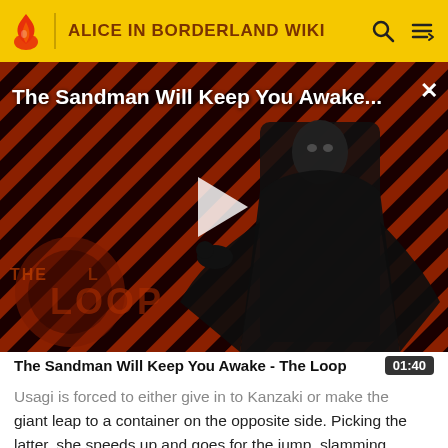ALICE IN BORDERLAND WIKI
[Figure (screenshot): Video thumbnail for 'The Sandman Will Keep You Awake - The Loop' showing a dark-cloaked figure against a diagonal red and black striped background with 'THE LOOP' watermark. A play button is visible in the center.]
The Sandman Will Keep You Awake - The Loop
Usagi is forced to either give in to Kanzaki or make the giant leap to a container on the opposite side. Picking the latter, she speeds up and goes for the jump, slamming into the container but managing to hang onto the ledge